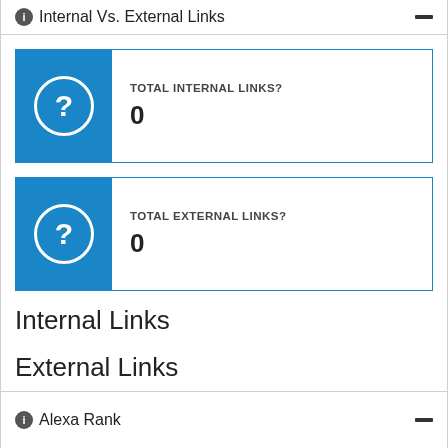Internal Vs. External Links
TOTAL INTERNAL LINKS?
0
TOTAL EXTERNAL LINKS?
0
Internal Links
External Links
Alexa Rank